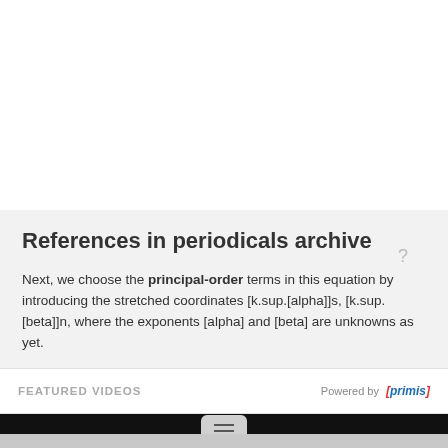References in periodicals archive
Next, we choose the principal-order terms in this equation by introducing the stretched coordinates [k.sup.[alpha]]s, [k.sup.[beta]]n, where the exponents [alpha] and [beta] are unknowns as yet.
We can deduce this by comparing the principal-order term of the asymptotics with numerical results.
Recent Advances in the Asymptotic Theory of Diffraction by Elongated Bodies
More results ▶
FEATURED VIDEOS
Powered by [primis]